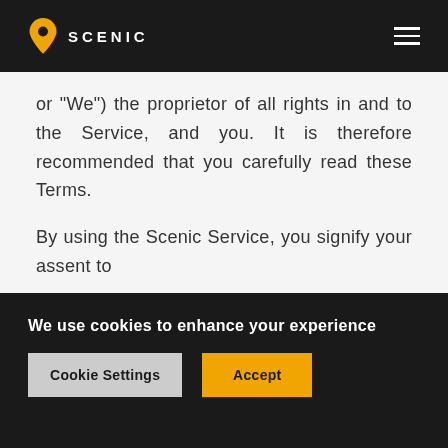SCENIC
or “We”) the proprietor of all rights in and to the Service, and you. It is therefore recommended that you carefully read these Terms.
By using the Scenic Service, you signify your assent to
these Terms;
Scenic’ privacy policy  (“Privacy Policy”); and
We use cookies to enhance your experience